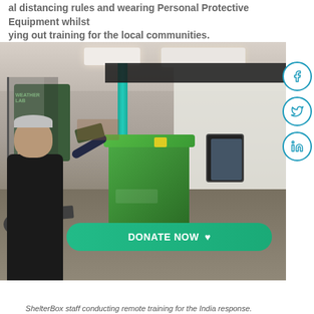al distancing rules and wearing Personal Protective Equipment whilst ying out training for the local communities.
[Figure (photo): ShelterBox staff conducting remote training for the India response. A woman wearing a face mask holds an item over a large green ShelterBox storage container while a man films or photographs with a tablet. The scene is set in an indoor space with a 'Weather Lab' sign visible in the background.]
ShelterBox staff conducting remote training for the India response.